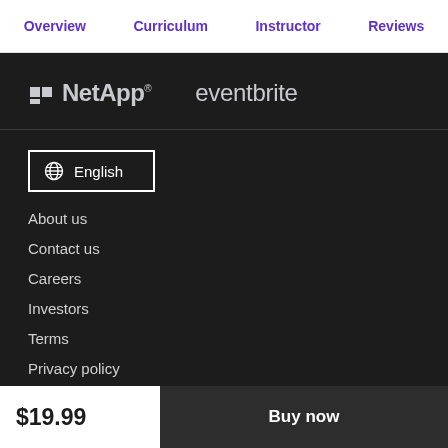Overview  Curriculum  Instructor  Reviews
[Figure (logo): NetApp logo and Eventbrite logo side by side on dark background]
English (language selector button)
About us
Contact us
Careers
Investors
Terms
Privacy policy
$19.99  Buy now